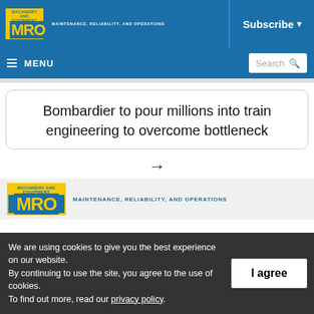MRO — MAINTENANCE, RELIABILITY, AND OPERATIONS | Subscribe
[Figure (screenshot): MRO magazine logo with yellow MRO letters on blue background and tagline MAINTENANCE, RELIABILITY, AND OPERATIONS]
≡ MENU
Bombardier to pour millions into train engineering to overcome bottleneck
[Figure (logo): MRO Machinery and Equipment logo — large version with MAINTENANCE, RELIABILITY, AND OPERATIONS tagline]
We are using cookies to give you the best experience on our website.
By continuing to use the site, you agree to the use of cookies.
To find out more, read our privacy policy.